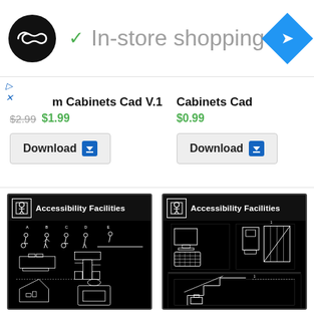[Figure (screenshot): App header with logo circle, green checkmark and 'In-store shopping' text, blue navigation diamond icon]
▷
X
m Cabinets Cad V.1
Cabinets Cad
$2.99 $1.99
$0.99
Download
Download
[Figure (engineering-diagram): Accessibility Facilities CAD drawing showing wheelchair users, accessibility routes and equipment in white lines on black background]
[Figure (engineering-diagram): Accessibility Facilities CAD drawing showing accessible workstation, ramp and stair lift equipment in white lines on black background]